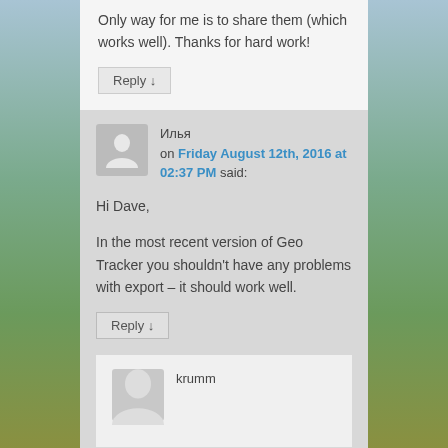Only way for me is to share them (which works well). Thanks for hard work!
Reply ↓
Илья on Friday August 12th, 2016 at 02:37 PM said:
Hi Dave,
In the most recent version of Geo Tracker you shouldn't have any problems with export – it should work well.
Reply ↓
krumm